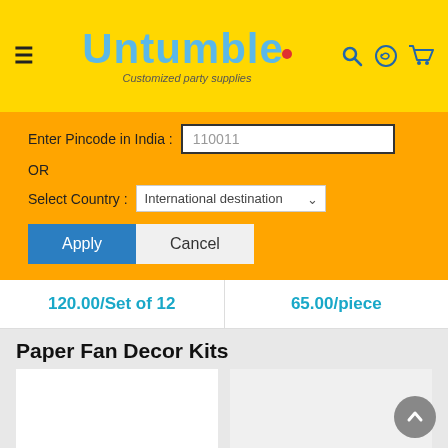[Figure (screenshot): Untumble website header with logo, hamburger menu, search, WhatsApp, and cart icons on yellow background]
Enter Pincode in India : 110011
OR
Select Country : International destination
Apply
Cancel
120.00/Set of 12
65.00/piece
Paper Fan Decor Kits